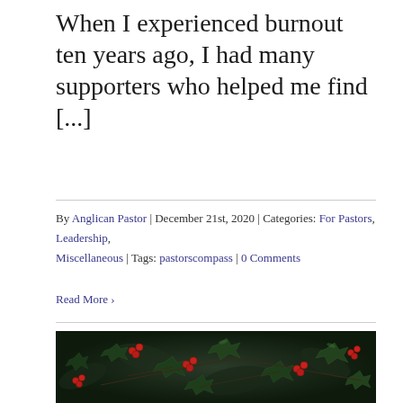When I experienced burnout ten years ago, I had many supporters who helped me find [...]
By Anglican Pastor | December 21st, 2020 | Categories: For Pastors, Leadership, Miscellaneous | Tags: pastorscompass | 0 Comments
Read More >
[Figure (photo): Close-up photograph of holly branches with dark green spiky leaves and bright red berries against a dark blurred background]